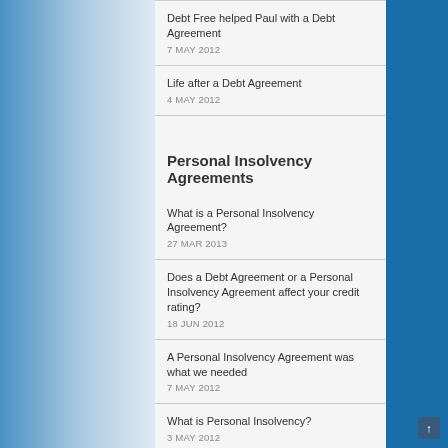Debt Free helped Paul with a Debt Agreement
7 MAY 2012
Life after a Debt Agreement
4 MAY 2012
Personal Insolvency Agreements
What is a Personal Insolvency Agreement?
27 MAR 2013
Does a Debt Agreement or a Personal Insolvency Agreement affect your credit rating?
18 JUN 2012
A Personal Insolvency Agreement was what we needed
7 MAY 2012
What is Personal Insolvency?
3 MAY 2012
Personal Insolvency Agreement
3 APR 2012